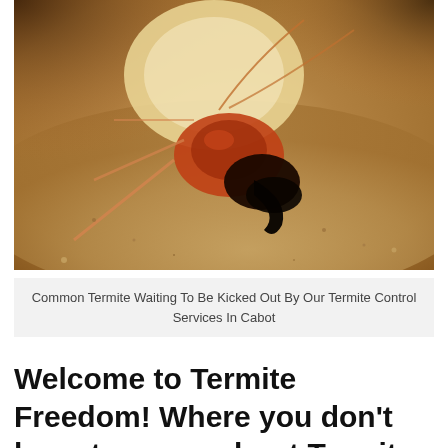[Figure (photo): Close-up macro photograph of a termite (soldier caste) with large dark mandibles, reddish-brown head and body, on a sandy/gravelly surface. The termite's swollen pale abdomen is visible in the upper portion of the image.]
Common Termite Waiting To Be Kicked Out By Our Termite Control Services In Cabot
Welcome to Termite Freedom! Where you don't have to worry about Termites in Cabot.